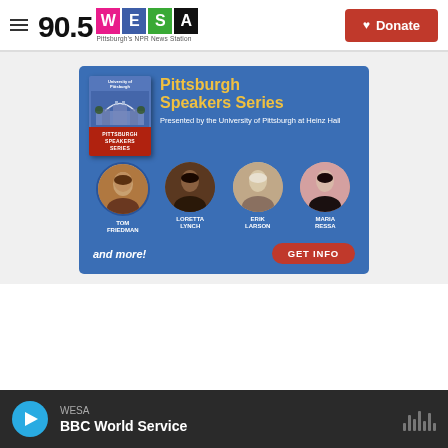90.5 WESA — Pittsburgh's NPR News Station | Donate
[Figure (illustration): Pittsburgh Speakers Series advertisement banner featuring University of Pittsburgh branding. Shows four circular portrait photos of speakers: Tom Friedman, Loretta Lynch, Erik Larson, Maria Ressa. Title reads 'Pittsburgh Speakers Series', subtitle 'Presented by the University of Pittsburgh at Heinz Hall'. Bottom text: 'and more!' and a red 'GET INFO' button.]
WESA — BBC World Service (audio player)